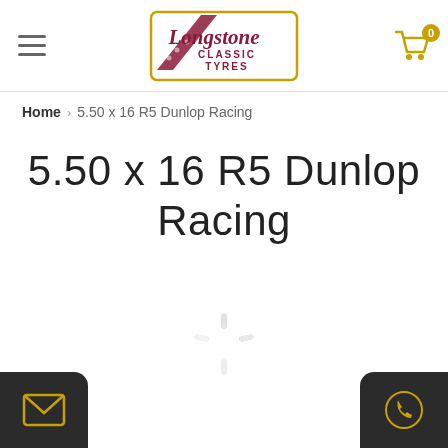[Figure (logo): Longstone Classic Tyres logo — decorative rectangular badge with gold border, racing tire tread motif in dark red/maroon, italic cursive 'Longstone' text above 'CLASSIC TYRES' text]
Home > 5.50 x 16 R5 Dunlop Racing
5.50 x 16 R5 Dunlop Racing
[Figure (illustration): Loading spinner graphic — radial lines in gray forming a circular loading/spinning indicator]
[Figure (illustration): Envelope/mail icon in gold on dark circular background (bottom left)]
[Figure (illustration): Phone icon in gold circle on dark circular background (bottom right)]